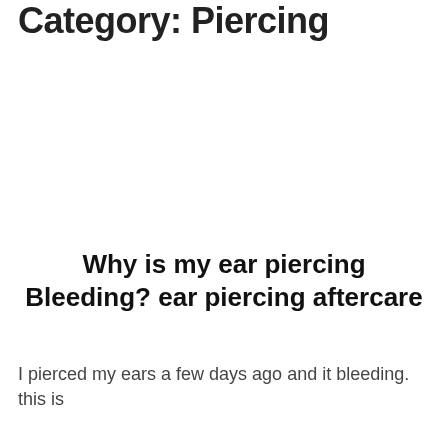Category: Piercing
Why is my ear piercing Bleeding? ear piercing aftercare
I pierced my ears a few days ago and it bleeding. this is